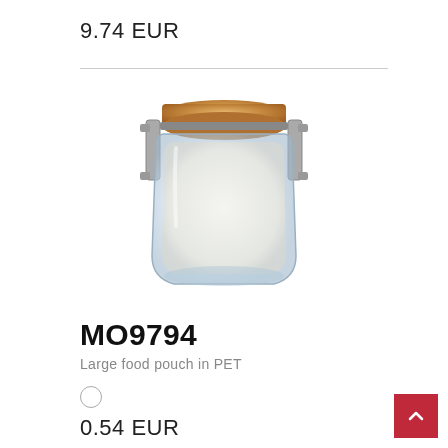9.74 EUR
[Figure (photo): A transparent PET food storage jar with a wooden lid and metal clasp, viewed slightly from above at an angle.]
MO9794
Large food pouch in PET
0.54 EUR